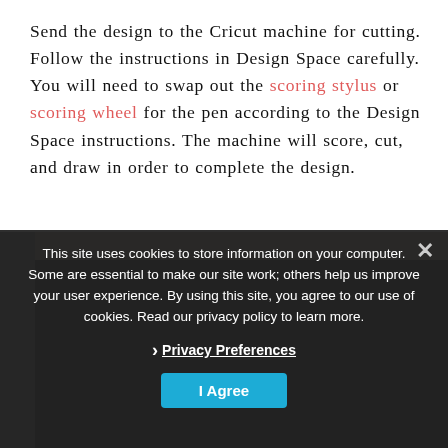Send the design to the Cricut machine for cutting. Follow the instructions in Design Space carefully. You will need to swap out the scoring stylus or scoring wheel for the pen according to the Design Space instructions. The machine will score, cut, and draw in order to complete the design.
[Figure (photo): Partially visible photo of a Cricut machine in use, overlaid by a cookie consent dialog.]
This site uses cookies to store information on your computer. Some are essential to make our site work; others help us improve your user experience. By using this site, you agree to our use of cookies. Read our privacy policy to learn more.
› Privacy Preferences
I Agree